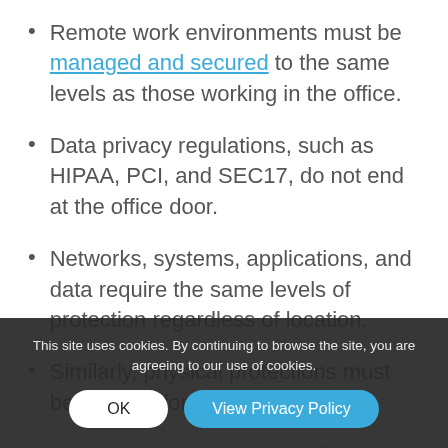Remote work environments must be managed and secured to the same levels as those working in the office.
Data privacy regulations, such as HIPAA, PCI, and SEC17, do not end at the office door.
Networks, systems, applications, and data require the same levels of protection regardless of location.
Similarly, physical protections must be in place for printed documents.
Can be accountable for intellectual property stored on personal devices.
Establish company security procedures for
This site uses cookies. By continuing to browse the site, you are agreeing to our use of cookies.